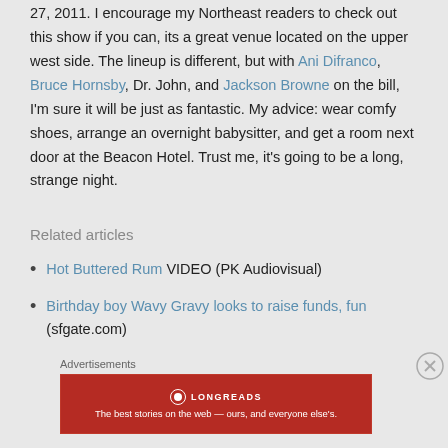27, 2011.  I encourage my Northeast readers to check out this show if you can, its a great venue located on the upper west side.  The lineup is different, but with Ani Difranco, Bruce Hornsby, Dr. John, and Jackson Browne on the bill, I'm sure it will be just as fantastic.  My advice: wear comfy shoes, arrange an overnight babysitter, and get a room next door at the Beacon Hotel.  Trust me, it's going to be a long, strange night.
Related articles
Hot Buttered Rum VIDEO (PK Audiovisual)
Birthday boy Wavy Gravy looks to raise funds, fun (sfgate.com)
Advertisements
[Figure (other): Longreads advertisement banner: red background with Longreads logo and tagline 'The best stories on the web — ours, and everyone else's.']